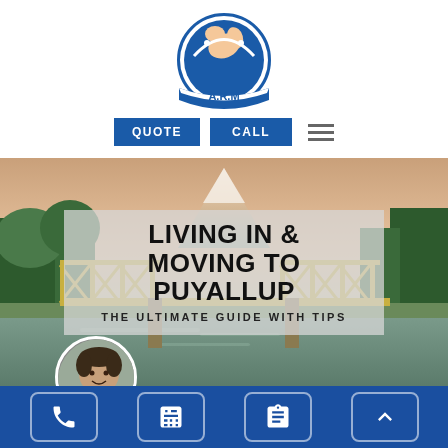[Figure (logo): A.R.M moving company logo — circular badge with a strong arm holding furniture, blue and white colors with 'A.R.M' text]
QUOTE  CALL  [hamburger menu]
[Figure (photo): Scenic photo of Puyallup river with a yellow steel bridge and Mount Rainier in the background at sunset]
LIVING IN & MOVING TO PUYALLUP
THE ULTIMATE GUIDE WITH TIPS
[Figure (photo): Circular headshot of a smiling man, the article author]
[phone icon] [calculator icon] [clipboard icon] [up arrow icon]